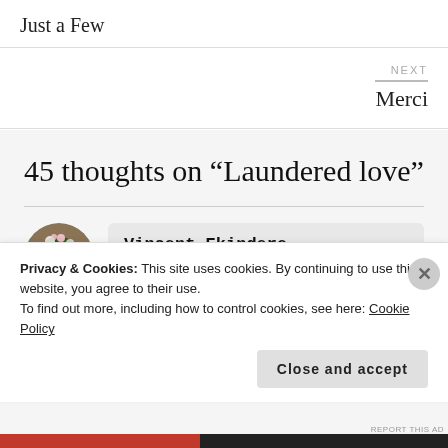Just a Few
NEXT
Merci
45 thoughts on “Laundered love”
[Figure (photo): Circular avatar photo of a person with flowers in hair]
Vincent Ekindere
Privacy & Cookies: This site uses cookies. By continuing to use this website, you agree to their use.
To find out more, including how to control cookies, see here: Cookie Policy
Close and accept